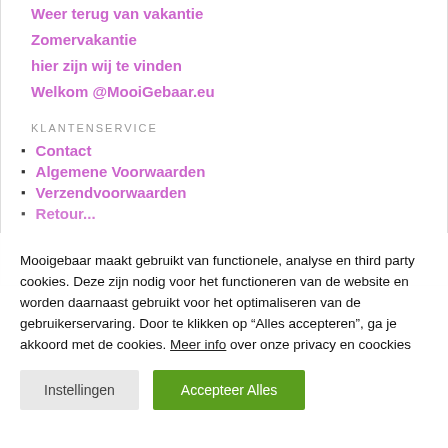Weer terug van vakantie
Zomervakantie
hier zijn wij te vinden
Welkom @MooiGebaar.eu
KLANTENSERVICE
Contact
Algemene Voorwaarden
Verzendvoorwaarden
Mooigebaar maakt gebruikt van functionele, analyse en third party cookies. Deze zijn nodig voor het functioneren van de website en worden daarnaast gebruikt voor het optimaliseren van de gebruikerservaring. Door te klikken op “Alles accepteren”, ga je akkoord met de cookies. Meer info over onze privacy en coockies
Instellingen
Accepteer Alles